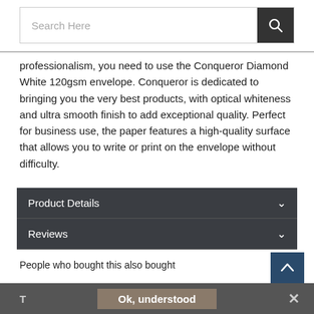[Figure (screenshot): Search bar with text input placeholder 'Search Here' and a dark search button with magnifying glass icon]
professionalism, you need to use the Conqueror Diamond White 120gsm envelope. Conqueror is dedicated to bringing you the very best products, with optical whiteness and ultra smooth finish to add exceptional quality. Perfect for business use, the paper features a high-quality surface that allows you to write or print on the envelope without difficulty.
Product Details
Reviews
People who bought this also bought
T  Ok, understood  ✕